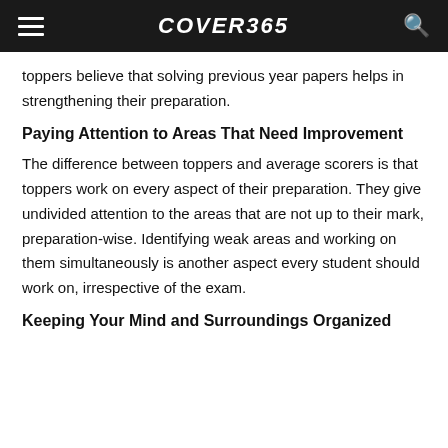≡  COVER365  🔍
toppers believe that solving previous year papers helps in strengthening their preparation.
Paying Attention to Areas That Need Improvement
The difference between toppers and average scorers is that toppers work on every aspect of their preparation. They give undivided attention to the areas that are not up to their mark, preparation-wise. Identifying weak areas and working on them simultaneously is another aspect every student should work on, irrespective of the exam.
Keeping Your Mind and Surroundings Organized